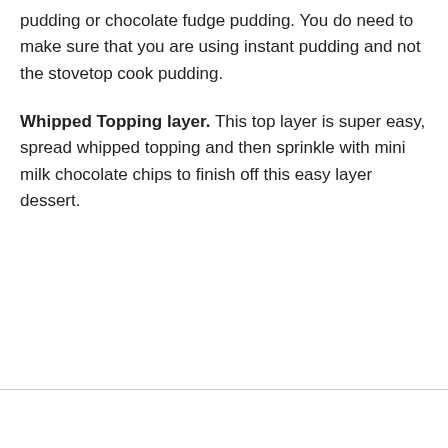pudding or chocolate fudge pudding. You do need to make sure that you are using instant pudding and not the stovetop cook pudding.
Whipped Topping layer. This top layer is super easy, spread whipped topping and then sprinkle with mini milk chocolate chips to finish off this easy layer dessert.